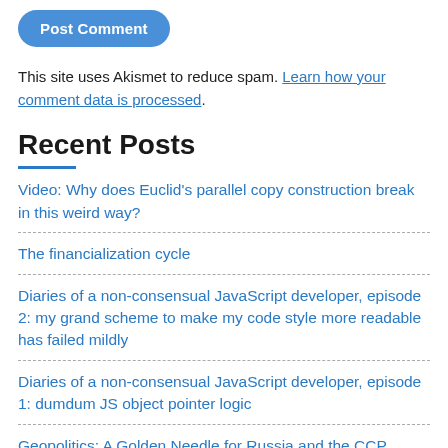Post Comment
This site uses Akismet to reduce spam. Learn how your comment data is processed.
Recent Posts
Video: Why does Euclid's parallel copy construction break in this weird way?
The financialization cycle
Diaries of a non-consensual JavaScript developer, episode 2: my grand scheme to make my code style more readable has failed mildly
Diaries of a non-consensual JavaScript developer, episode 1: dumdum JS object pointer logic
Geopolitics: A Golden Needle for Russia and the CCP